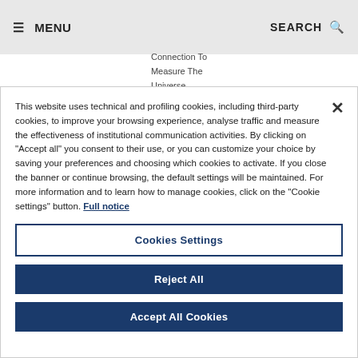☰ MENU   SEARCH 🔍
Connection To Measure The Universe
This website uses technical and profiling cookies, including third-party cookies, to improve your browsing experience, analyse traffic and measure the effectiveness of institutional communication activities. By clicking on "Accept all" you consent to their use, or you can customize your choice by saving your preferences and choosing which cookies to activate. If you close the banner or continue browsing, the default settings will be maintained. For more information and to learn how to manage cookies, click on the "Cookie settings" button. Full notice
Cookies Settings
Reject All
Accept All Cookies